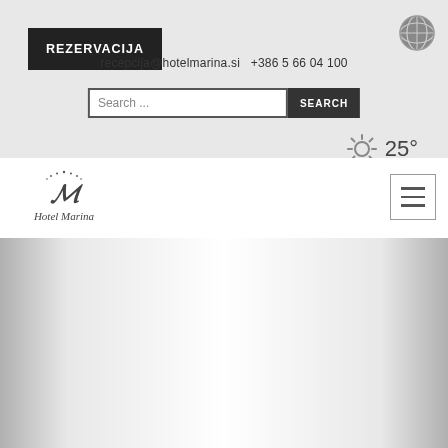REZERVACIJA
[Figure (logo): Globe/language selector icon, circular with world map lines, dark grey]
recepcija@hotelmarina.si  +386 5 66 04 100
Search ...
SEARCH
25°
[Figure (logo): Hotel Marina logo with stylized M monogram and cursive 'Hotel Marina' text]
[Figure (photo): Hero/banner image area with silver-to-white gradient, appears to be a hotel exterior or interior photo faded to white in center]